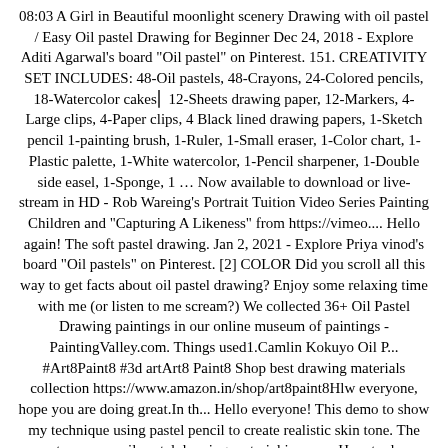08:03 A Girl in Beautiful moonlight scenery Drawing with oil pastel / Easy Oil pastel Drawing for Beginner Dec 24, 2018 - Explore Aditi Agarwal's board "Oil pastel" on Pinterest. 151. CREATIVITY SET INCLUDES: 48-Oil pastels, 48-Crayons, 24-Colored pencils, 18-Watercolor cakes│ 12-Sheets drawing paper, 12-Markers, 4-Large clips, 4-Paper clips, 4 Black lined drawing papers, 1-Sketch pencil 1-painting brush, 1-Ruler, 1-Small eraser, 1-Color chart, 1-Plastic palette, 1-White watercolor, 1-Pencil sharpener, 1-Double side easel, 1-Sponge, 1 … Now available to download or live-stream in HD - Rob Wareing's Portrait Tuition Video Series Painting Children and "Capturing A Likeness" from https://vimeo.... Hello again! The soft pastel drawing. Jan 2, 2021 - Explore Priya vinod's board "Oil pastels" on Pinterest. [2] COLOR Did you scroll all this way to get facts about oil pastel drawing? Enjoy some relaxing time with me (or listen to me scream?) We collected 36+ Oil Pastel Drawing paintings in our online museum of paintings - PaintingValley.com. Things used1.Camlin Kokuyo Oil P... #Art8Paint8 #3d artArt8 Paint8 Shop best drawing materials collection https://www.amazon.in/shop/art8paint8Hlw everyone, hope you are doing great.In th... Hello everyone! This demo to show my technique using pastel pencil to create realistic skin tone. The most common oil pastel drawing material is paper. How to draw with oil pastels . Nov 3, 2019 - Explore Shirley Burke's board "pastel drawing" on Pinterest. Some brands are much better than others and many beginner stop using oil pastels